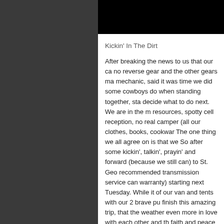Kickin' In The Dirt
After breaking the news to us that our ca no reverse gear and the other gears ma mechanic, said it was time we did some cowboys do when standing together, sta decide what to do next. We are in the m resources, spotty cell reception, no real camper (all our clothes, books, cookwar The one thing we all agree on is that we So after some kickin', talkin', prayin' and forward (because we still can) to St. Geo recommended transmission service can warranty) starting next Tuesday. While it of our van and tents with our 2 brave pu finish this amazing trip, that the weather even more in love with each other and th faith and peace grow daily watching the